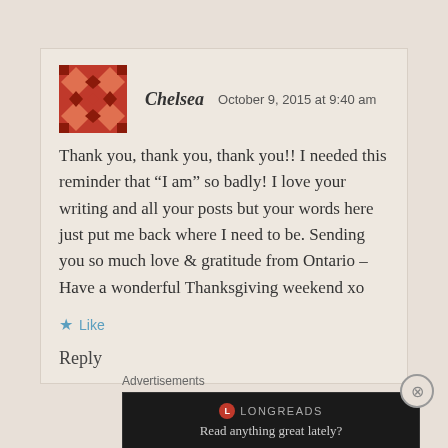Chelsea   October 9, 2015 at 9:40 am
Thank you, thank you, thank you!! I needed this reminder that “I am” so badly! I love your writing and all your posts but your words here just put me back where I need to be. Sending you so much love & gratitude from Ontario – Have a wonderful Thanksgiving weekend xo
Like
Reply
Advertisements
[Figure (other): Longreads advertisement banner with dark background showing red circle logo, LONGREADS text, and tagline 'Read anything great lately?']